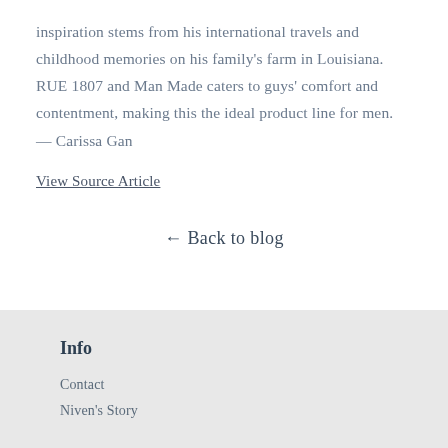inspiration stems from his international travels and childhood memories on his family's farm in Louisiana. RUE 1807 and Man Made caters to guys' comfort and contentment, making this the ideal product line for men. — Carissa Gan
View Source Article
← Back to blog
Info
Contact
Niven's Story